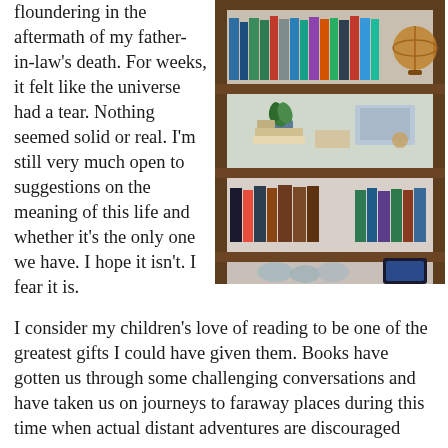floundering in the aftermath of my father-in-law's death. For weeks, it felt like the universe had a tear. Nothing seemed solid or real. I'm still very much open to suggestions on the meaning of this life and whether it's the only one we have. I hope it isn't. I fear it is.
[Figure (photo): A wooden bookshelf with multiple shelves filled with books, a small potted green plant, decorative items, and a globe on the top shelf. Lower shelves contain stacked books in various arrangements.]
I consider my children's love of reading to be one of the greatest gifts I could have given them. Books have gotten us through some challenging conversations and have taken us on journeys to faraway places during this time when actual distant adventures are discouraged